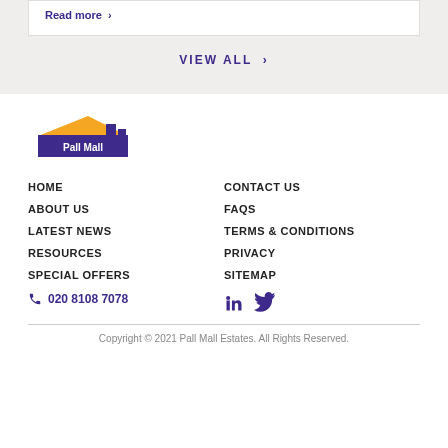Read more >
VIEW ALL >
[Figure (logo): Pall Mall Estates logo with orange roof shape and purple building facade and white Pall Mall text]
HOME
ABOUT US
LATEST NEWS
RESOURCES
SPECIAL OFFERS
CONTACT US
FAQS
TERMS & CONDITIONS
PRIVACY
SITEMAP
020 8108 7078
[Figure (illustration): LinkedIn and Twitter social media icons in purple]
Copyright © 2021 Pall Mall Estates. All Rights Reserved.